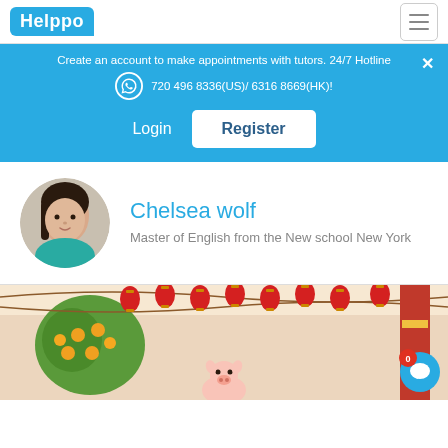Helppo
Create an account to make appointments with tutors. 24/7 Hotline
720 496 8336(US)/ 6316 8669(HK)!
Login
Register
Chelsea wolf
Master of English from the New school New York
[Figure (illustration): Chinese New Year illustration with red lanterns, tree with orange fruits, and a small pig character at the bottom center]